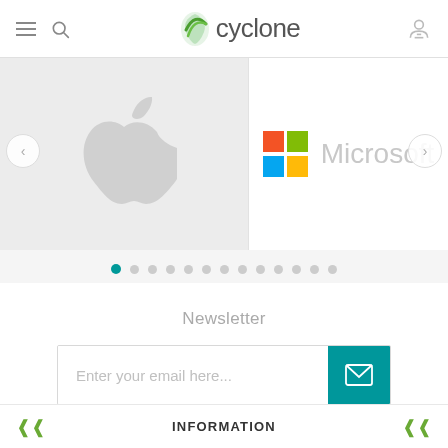[Figure (logo): Ecyclone logo with green leaf/swoosh icon and grey text]
[Figure (screenshot): Brand logo carousel showing Apple logo and Microsoft logo with colored squares, with left/right navigation arrows and pagination dots]
Newsletter
[Figure (infographic): Newsletter email input field with placeholder 'Enter your email here...' and a teal submit button with envelope icon]
INFORMATION